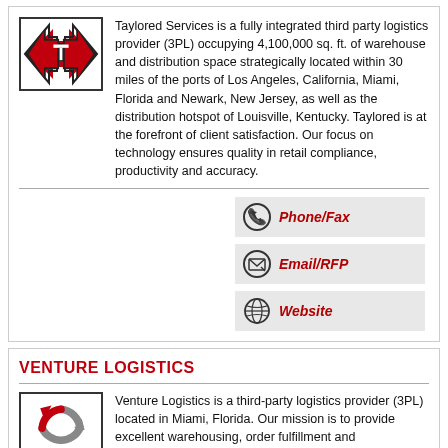[Figure (logo): Taylored Services logo — red and black arrow shapes forming a chevron with a T]
Taylored Services is a fully integrated third party logistics provider (3PL) occupying 4,100,000 sq. ft. of warehouse and distribution space strategically located within 30 miles of the ports of Los Angeles, California, Miami, Florida and Newark, New Jersey, as well as the distribution hotspot of Louisville, Kentucky. Taylored is at the forefront of client satisfaction. Our focus on technology ensures quality in retail compliance, productivity and accuracy.
[Figure (infographic): Phone/Fax contact button with phone icon]
[Figure (infographic): Email/RFP contact button with envelope icon]
[Figure (infographic): Website contact button with globe icon]
VENTURE LOGISTICS
[Figure (logo): Venture Logistics logo — circular arrows in gray and red]
Venture Logistics is a third-party logistics provider (3PL) located in Miami, Florida. Our mission is to provide excellent warehousing, order fulfillment and transportation at a fair price. We partner and